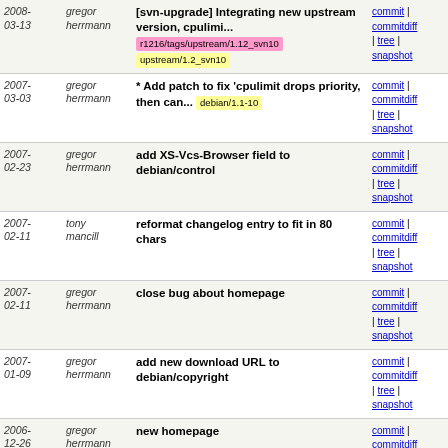| Date | Author | Message | Links |
| --- | --- | --- | --- |
| 2008-03-13 | gregor herrmann | [svn-upgrade] Integrating new upstream version, cpulimi... r1216/tags/upstream/1.12_svn10 upstream/1.2_svn10 | commit | commitdiff | tree | snapshot |
| 2007-03-03 | gregor herrmann | * Add patch to fix 'cpulimit drops priority, then can... debian/1.1-10 | commit | commitdiff | tree | snapshot |
| 2007-02-23 | gregor herrmann | add XS-Vcs-Browser field to debian/control | commit | commitdiff | tree | snapshot |
| 2007-02-11 | tony mancill | reformat changelog entry to fit in 80 chars | commit | commitdiff | tree | snapshot |
| 2007-02-11 | gregor herrmann | close bug about homepage | commit | commitdiff | tree | snapshot |
| 2007-01-09 | gregor herrmann | add new download URL to debian/copyright | commit | commitdiff | tree | snapshot |
| 2006-12-26 | gregor herrmann | new homepage | commit | commitdiff | tree | snapshot |
| 2006-12-25 | gregor herrmann | * Change watch file. | commit | commitdiff | tree | snapshot |
| 2006-11-30 | gregor herrmann | typo in changelog | commit | commitdiff | tree | snapshot |
| 2006-11-30 | gregor herrmann | s/cpulimit.8/cpulimit.1/ | commit | commitdiff | tree | snapshot |